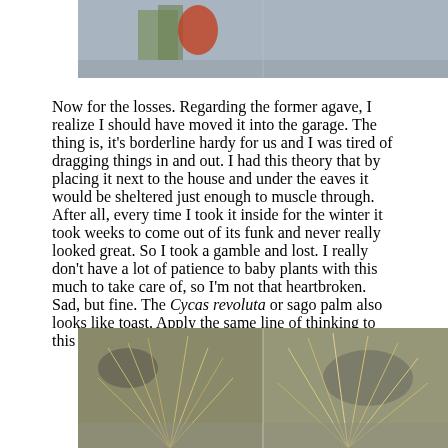[Figure (photo): Top portion of a photo showing plants on a wooden deck surface, partially visible at the top of the page]
Now for the losses. Regarding the former agave, I realize I should have moved it into the garage. The thing is, it's borderline hardy for us and I was tired of dragging things in and out. I had this theory that by placing it next to the house and under the eaves it would be sheltered just enough to muscle through. After all, every time I took it inside for the winter it took weeks to come out of its funk and never really looked great. So I took a gamble and lost. I really don't have a lot of patience to baby plants with this much to take care of, so I'm not that heartbroken. Sad, but fine. The Cycas revoluta or sago palm also looks like toast. Apply the same line of thinking to this plant, too.
[Figure (photo): Photo of dead or dormant ornamental grass plants with dried brown and tan blades, surrounded by rocks and gravel, appearing frost-damaged]